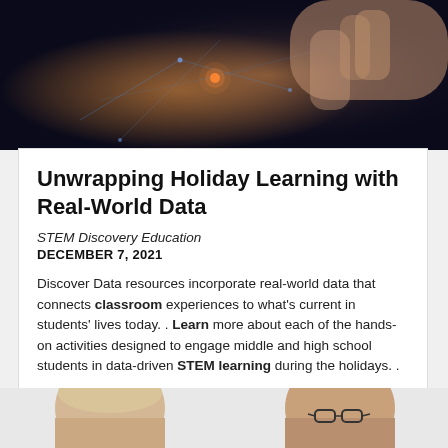[Figure (photo): Dark background photo showing a hand pointing at or touching a glowing network/technology interface with light streaks]
Unwrapping Holiday Learning with Real-World Data
STEM Discovery Education
DECEMBER 7, 2021
Discover Data resources incorporate real-world data that connects classroom experiences to what's current in students' lives today. . Learn more about each of the hands-on activities designed to engage middle and high school students in data-driven STEM learning during the holidays. .
[Figure (photo): Partial photo of two people at the bottom of the page, one with glasses]